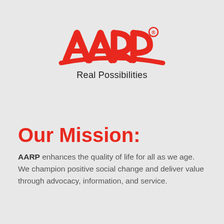[Figure (logo): AARP logo with red lettering and swoosh, with 'Real Possibilities' tagline below]
Our Mission:
AARP enhances the quality of life for all as we age. We champion positive social change and deliver value through advocacy, information, and service.